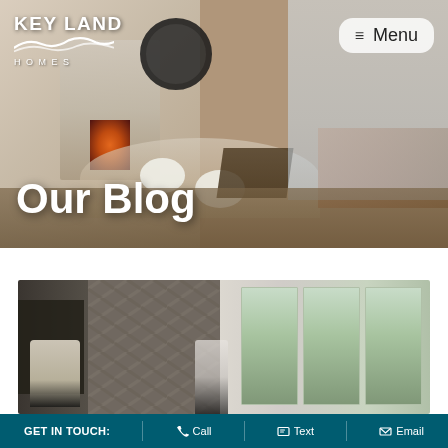[Figure (photo): Hero banner image showing a modern living room interior with stone fireplace, round mirror, white ottomans, couch, coffee table and hardwood floors. Key Land Homes logo in top left, Menu button top right, Our Blog text overlay on lower left.]
Our Blog
[Figure (photo): Interior room photo showing dark herringbone accent wall panel on left half and bright windows with view of trees on right half.]
GET IN TOUCH:  Call  Text  Email